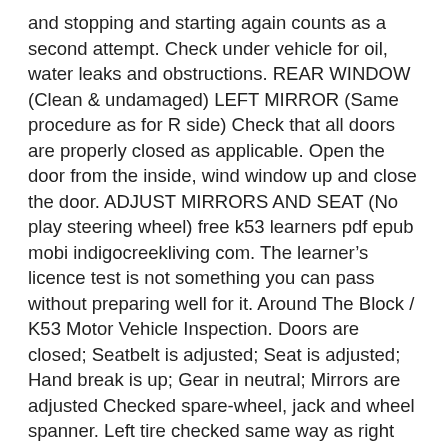and stopping and starting again counts as a second attempt. Check under vehicle for oil, water leaks and obstructions. REAR WINDOW (Clean & undamaged) LEFT MIRROR (Same procedure as for R side) Check that all doors are properly closed as applicable. Open the door from the inside, wind window up and close the door. ADJUST MIRRORS AND SEAT (No play steering wheel) free k53 learners pdf epub mobi indigocreekliving com. The learner's licence test is not something you can pass without preparing well for it. Around The Block / K53 Motor Vehicle Inspection. Doors are closed; Seatbelt is adjusted; Seat is adjusted; Hand break is up; Gear in neutral; Mirrors are adjusted Checked spare-wheel, jack and wheel spanner. Left tire checked same way as right tire. K53 LEARNERS AND DRIVERâS LICENCE TRAINING FOR CODE B. HANDBRAKE – NEUTRAL OBSERVE UNDERNEATH CAR (No oil leaks or obstructions) K53 Light Motor Vehicle Arrive Alive k53 download pdf izito search results. Number plate lights are clean and serviceable. Price List For Manual Car code B(2) K53 Ask us